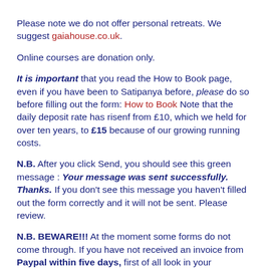Please note we do not offer personal retreats. We suggest gaiahouse.co.uk.
Online courses are donation only.
It is important that you read the How to Book page, even if you have been to Satipanya before, please do so before filling out the form: How to Book Note that the daily deposit rate has risenf from £10, which we held for over ten years, to £15 because of our growing running costs.
N.B. After you click Send, you should see this green message : Your message was sent successfully. Thanks. If you don't see this message you haven't filled out the form correctly and it will not be sent. Please review.
N.B. BEWARE!!! At the moment some forms do not come through. If you have not received an invoice from Paypal within five days, first of all look in your